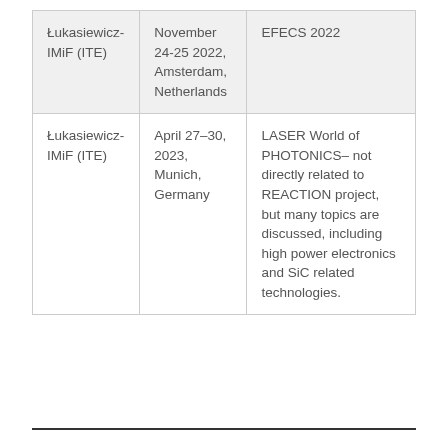|  |  |  |
| --- | --- | --- |
| Łukasiewicz-IMiF (ITE) | November 24-25 2022, Amsterdam, Netherlands | EFECS 2022 |
| Łukasiewicz-IMiF (ITE) | April 27–30, 2023, Munich, Germany | LASER World of PHOTONICS– not directly related to REACTION project, but many topics are discussed, including high power electronics and SiC related technologies. |